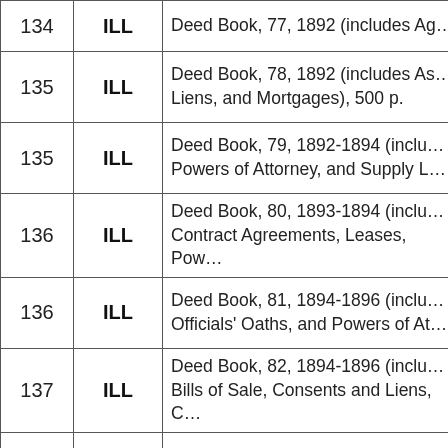| # | ILL | Description |
| --- | --- | --- |
| 134 | ILL | Deed Book, 77, 1892 (includes Ag… |
| 135 | ILL | Deed Book, 78, 1892 (includes As…
Liens, and Mortgages), 500 p. |
| 135 | ILL | Deed Book, 79, 1892-1894 (inclu…
Powers of Attorney, and Supply L… |
| 136 | ILL | Deed Book, 80, 1893-1894 (inclu…
Contract Agreements, Leases, Pow… |
| 136 | ILL | Deed Book, 81, 1894-1896 (inclu…
Officials' Oaths, and Powers of At… |
| 137 | ILL | Deed Book, 82, 1894-1896 (inclu…
Bills of Sale, Consents and Liens, C… |
| 137 | ILL | Deed Book, 83, 1896, (includes Ag…
Powers of Attorney), 500 p. Volum… |
|  |  | Deed Book, 84, 1896-1897 (inclu… |